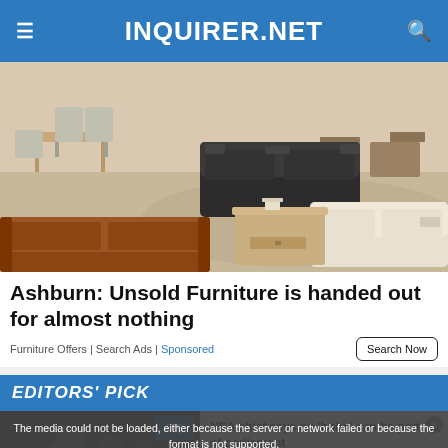INQUIRER.NET
[Figure (photo): Interior of a furniture showroom with various sofas, chairs, and tables on display including a brown leather sofa, dark leather reclining sofa, white sofa, and wooden dining set.]
Ashburn: Unsold Furniture is handed out for almost nothing
Furniture Offers | Search Ads | Sponsored
[Figure (screenshot): Editors' Pick section header in blue bar, followed by a video player overlay showing 'NSA chief says no bobo can be part of parliament' with a media error message overlay reading 'The media could not be loaded, either because the server or network failed or because the format is not supported.']
NSA chief says no 'bobo' can be part of parliament